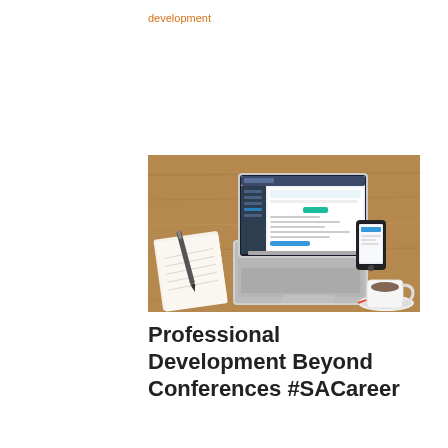development
[Figure (photo): Laptop open on a wooden desk showing a web dashboard, with a notebook and pen to the left, a smartphone and coffee cup with saucer to the right.]
Professional Development Beyond Conferences #SACareer